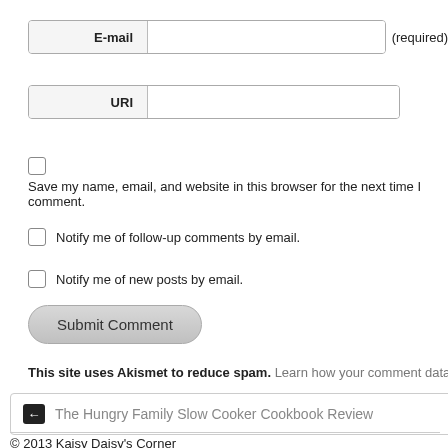E-mail (required)
URI
Save my name, email, and website in this browser for the next time I comment.
Notify me of follow-up comments by email.
Notify me of new posts by email.
Submit Comment
This site uses Akismet to reduce spam. Learn how your comment data is proce…
← The Hungry Family Slow Cooker Cookbook Review
© 2013 Kaisy Daisy's Corner